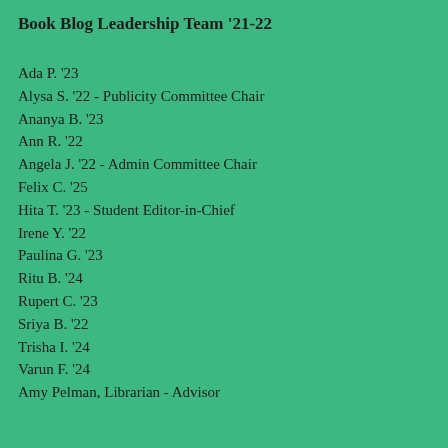Book Blog Leadership Team '21-22
Ada P. '23
Alysa S. '22 - Publicity Committee Chair
Ananya B. '23
Ann R. '22
Angela J. '22 - Admin Committee Chair
Felix C. '25
Hita T. '23 - Student Editor-in-Chief
Irene Y. '22
Paulina G. '23
Ritu B. '24
Rupert C. '23
Sriya B. '22
Trisha I. '24
Varun F. '24
Amy Pelman, Librarian - Advisor